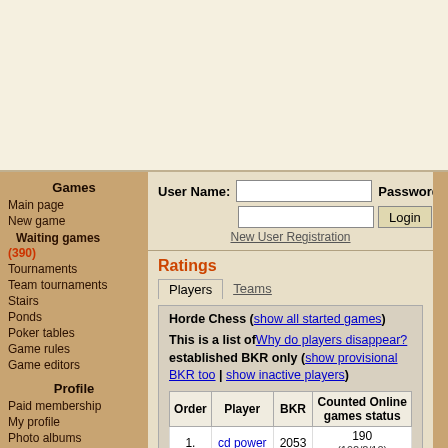[Figure (other): Top banner area with light cream/beige background, advertisement placeholder]
Games
Main page
New game
Waiting games (390)
Tournaments
Team tournaments
Stairs
Ponds
Poker tables
Game rules
Game editors
Profile
Paid membership
My profile
Photo albums
Message box
Events
Friends
Blocked users
Settings
Statistics
User Name: [input] Password: [input] Login
New User Registration
Ratings
Players | Teams
Horde Chess (show all started games)
This is a list of Why do players disappear? established BKR only (show provisional BKR too | show inactive players)
| Order | Player | BKR | Counted Online games status |
| --- | --- | --- | --- |
| 1. | cd power | 2053 | 190
(192/2/10) |
| 2. | Avaz | 2025 | 77
(67/0/12) |